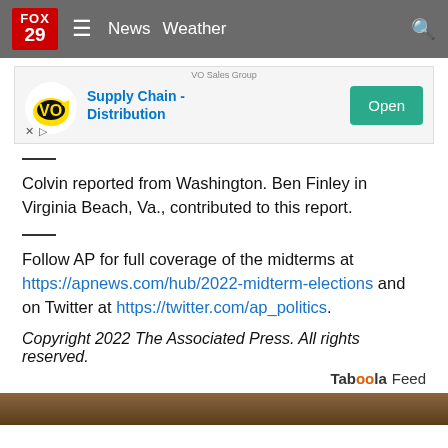FOX 29 | News Weather
[Figure (screenshot): Advertisement banner for VO Sales Group - Supply Chain Distribution with an Open button]
Colvin reported from Washington. Ben Finley in Virginia Beach, Va., contributed to this report.
Follow AP for full coverage of the midterms at https://apnews.com/hub/2022-midterm-elections and on Twitter at https://twitter.com/ap_politics.
Copyright 2022 The Associated Press. All rights reserved.
Taboola Feed
[Figure (photo): Partial bottom image, dark brownish tones]